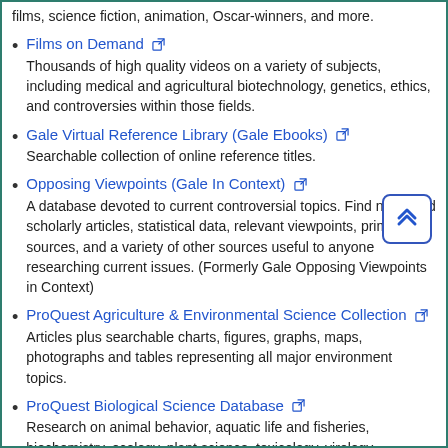films, science fiction, animation, Oscar-winners, and more.
Films on Demand [external link]
Thousands of high quality videos on a variety of subjects, including medical and agricultural biotechnology, genetics, ethics, and controversies within those fields.
Gale Virtual Reference Library (Gale Ebooks) [external link]
Searchable collection of online reference titles.
Opposing Viewpoints (Gale In Context) [external link]
A database devoted to current controversial topics. Find news and scholarly articles, statistical data, relevant viewpoints, primary sources, and a variety of other sources useful to anyone researching current issues. (Formerly Gale Opposing Viewpoints in Context)
ProQuest Agriculture & Environmental Science Collection [external link]
Articles plus searchable charts, figures, graphs, maps, photographs and tables representing all major environment topics.
ProQuest Biological Science Database [external link]
Research on animal behavior, aquatic life and fisheries, biochemistry, ecology, plant science, toxicology, virology, microbiology, health and safety science, entomology, and more.
ProQuest Science Database [external link]